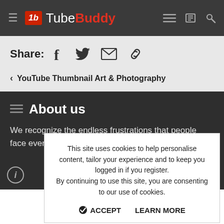TubeBuddy
Share:
‹ YouTube Thumbnail Art & Photography
About us
We recognize the endless frustrations that people face every
This site uses cookies to help personalise content, tailor your experience and to keep you logged in if you register.
By continuing to use this site, you are consenting to our use of cookies.
ACCEPT   LEARN MORE